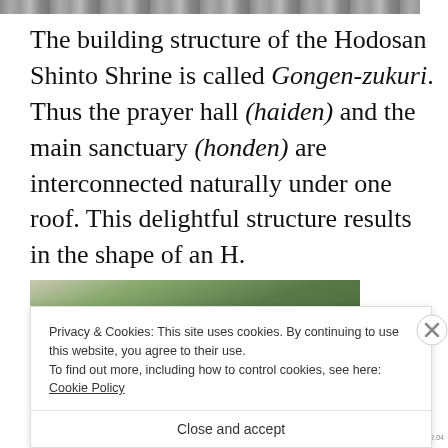[Figure (photo): Top portion of a photo, partially cropped, showing a stone or rocky structure at the top of the page.]
The building structure of the Hodosan Shinto Shrine is called Gongen-zukuri. Thus the prayer hall (haiden) and the main sanctuary (honden) are interconnected naturally under one roof. This delightful structure results in the shape of an H.
[Figure (photo): Partially visible photo showing trees and foliage, likely taken at a shrine or forested area.]
Privacy & Cookies: This site uses cookies. By continuing to use this website, you agree to their use.
To find out more, including how to control cookies, see here: Cookie Policy
Close and accept